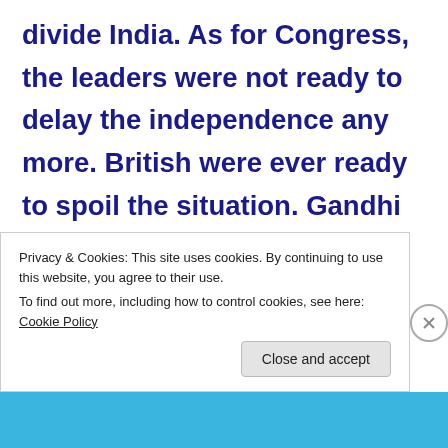divide India. As for Congress, the leaders were not ready to delay the independence any more. British were ever ready to spoil the situation. Gandhi and Sardar thought, it would be better to accept the independence with divided India. In
Privacy & Cookies: This site uses cookies. By continuing to use this website, you agree to their use.
To find out more, including how to control cookies, see here: Cookie Policy
Close and accept